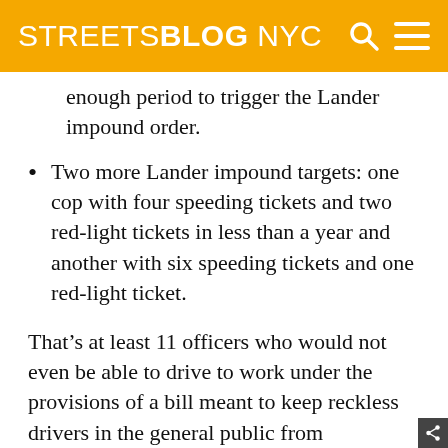STREETSBLOG NYC
enough period to trigger the Lander impound order.
Two more Lander impound targets: one cop with four speeding tickets and two red-light tickets in less than a year and another with six speeding tickets and one red-light ticket.
That’s at least 11 officers who would not even be able to drive to work under the provisions of a bill meant to keep reckless drivers in the general public from endangering the rest of us.
Not to be outdone, the 108th Precinct had a cop with seven serious violations; one with five; another with six; one with 18 speeding tickets and two red-light